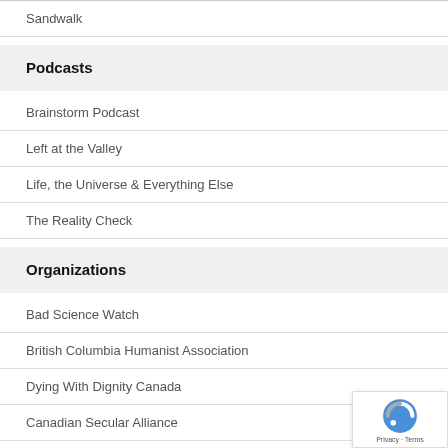Sandwalk
Podcasts
Brainstorm Podcast
Left at the Valley
Life, the Universe & Everything Else
The Reality Check
Organizations
Bad Science Watch
British Columbia Humanist Association
Dying With Dignity Canada
Canadian Secular Alliance